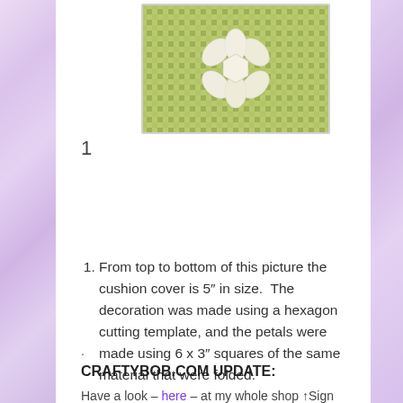[Figure (photo): A cushion cover with a green and white checkered/gingham pattern, approximately 5 inches in size, with a white fabric flower decoration (hexagon petal shape) placed on top of it.]
1
From top to bottom of this picture the cushion cover is 5" in size.  The decoration was made using a hexagon cutting template, and the petals were made using 6 x 3" squares of the same material that were folded.
.
CRAFTYBOB.COM UPDATE:
Have a look – here – at my whole shop ↑Sign